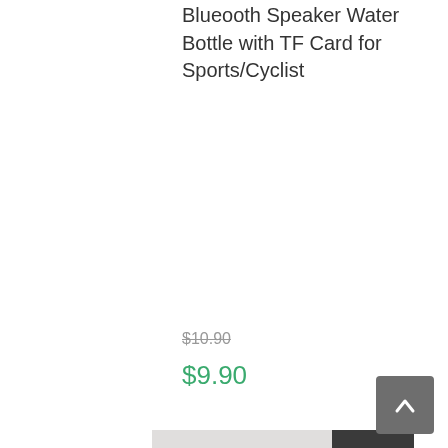Blueooth Speaker Water Bottle with TF Card for Sports/Cyclist
$10.90
$9.90
[Figure (photo): Collection of round portable speakers with various designs including Coca-Cola, Pepsi, smiley face, soccer ball, and other patterns, displayed on a white surface]
Portable Handy Pouch Speaker with